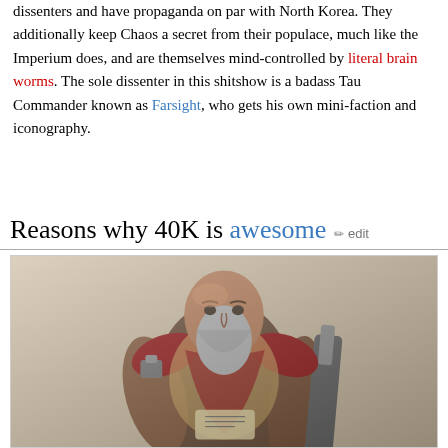dissenters and have propaganda on par with North Korea. They additionally keep Chaos a secret from their populace, much like the Imperium does, and are themselves mind-controlled by literal brain worms. The sole dissenter in this shitshow is a badass Tau Commander known as Farsight, who gets his own mini-faction and iconography.
Reasons why 40K is awesome [edit]
[Figure (illustration): Illustration of a muscular, bald, bearded warrior figure in fantasy/sci-fi armor holding a large weapon, depicted in a painted fantasy art style.]